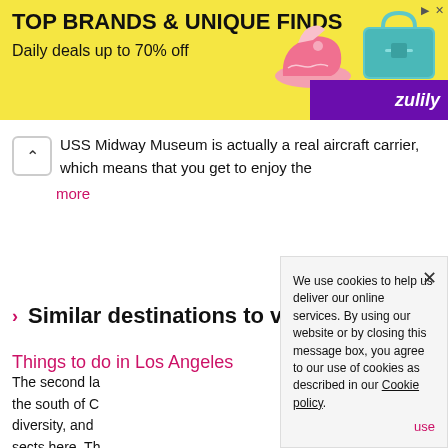[Figure (illustration): Zulily advertisement banner with yellow background showing text 'TOP BRANDS & UNIQUE FINDS' and 'Daily deals up to 70% off', images of a pink shoe and teal bag, and purple Zulily logo in bottom right]
USS Midway Museum is actually a real aircraft carrier, which means that you get to enjoy the
more
« ‹ 1 . 2 › »
› Similar destinations to visit
Things to do in Los Angeles
The second la... the south of C... diversity, and ... sects here. Th... located in a la...
We use cookies to help us deliver our online services. By using our website or by closing this message box, you agree to our use of cookies as described in our Cookie policy.
use